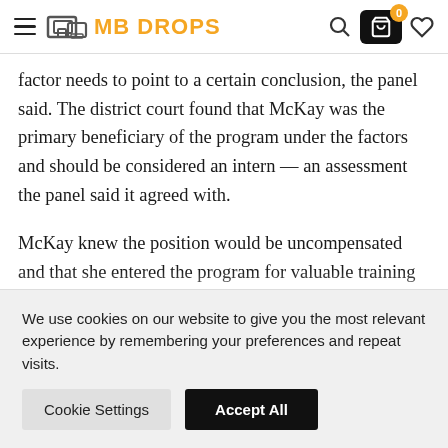MB DROPS
factor needs to point to a certain conclusion, the panel said. The district court found that McKay was the primary beneficiary of the program under the factors and should be considered an intern — an assessment the panel said it agreed with.
McKay knew the position would be uncompensated and that she entered the program for valuable training to avoid continued higher education. While
We use cookies on our website to give you the most relevant experience by remembering your preferences and repeat visits.